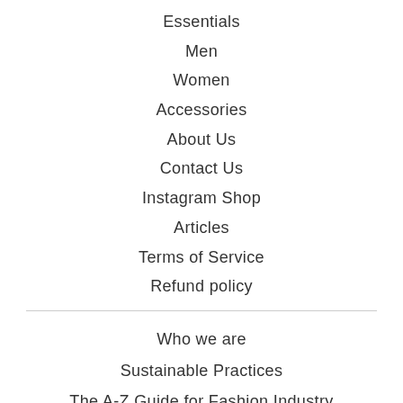Essentials
Men
Women
Accessories
About Us
Contact Us
Instagram Shop
Articles
Terms of Service
Refund policy
Who we are
Sustainable Practices
The A-Z Guide for Fashion Industry